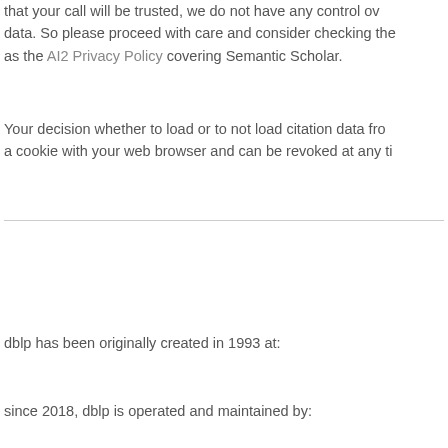that your call will be trusted, we do not have any control over the data. So please proceed with care and consider checking the as the AI2 Privacy Policy covering Semantic Scholar.
Your decision whether to load or to not load citation data from a cookie with your web browser and can be revoked at any ti
last updated on 2020-05-13 17:31 CEST by the dblp team
all metadata released as open data under CC0 1.0 license
see also: Terms of Use | Privacy Policy | Imprint
dblp has been originally created in 1993 at:
since 2018, dblp is operated and maintained by: